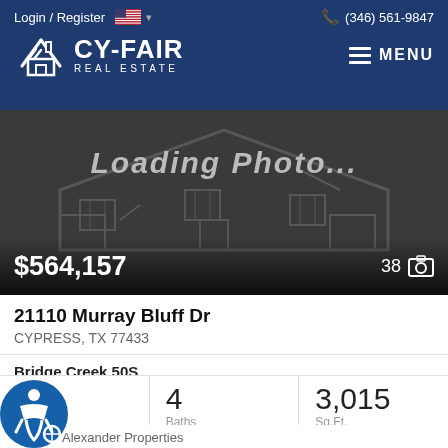Login / Register | (346) 561-9847 | CY-FAIR REAL ESTATE | MENU
[Figure (screenshot): Loading Photo placeholder with house outline silhouette, price $564,157, and photo count 38]
21110 Murray Bluff Dr
CYPRESS, TX 77433
Bridge Creek 50S
| Beds | Baths | Sq.Ft. |
| --- | --- | --- |
| 5 | 4 | 3,015 |
Alexander Properties